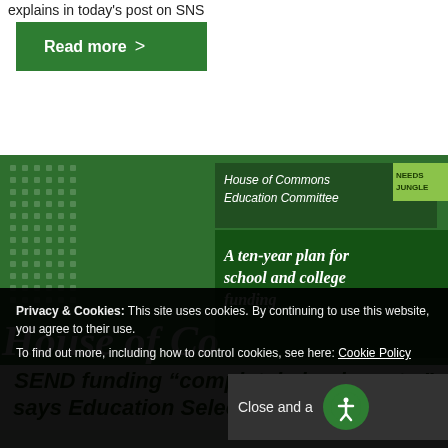explains in today's post on SNS
Read more >
[Figure (photo): House of Commons Education Committee report cover - 'A ten-year plan for school and college funding' with NEEDS JUNGLE badge, shown on dark green background with dot grid pattern and 'House of Co...' text overlay]
SEND funding "completely inadequate," says Education Select Committee report
Privacy & Cookies: This site uses cookies. By continuing to use this website, you agree to their use.
To find out more, including how to control cookies, see here: Cookie Policy
Close and a...